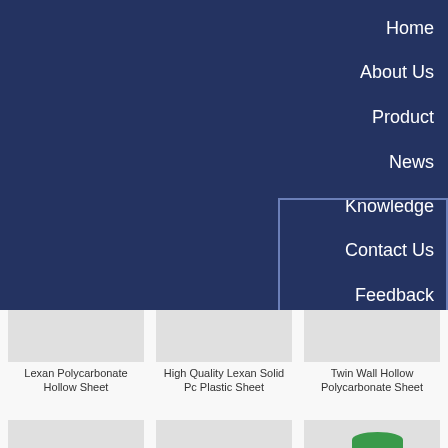Home
About Us
Product
News
Knowledge
Contact Us
Feedback
Guest Post
Lexan Polycarbonate Hollow Sheet
High Quality Lexan Solid Pc Plastic Sheet
Twin Wall Hollow Polycarbonate Sheet